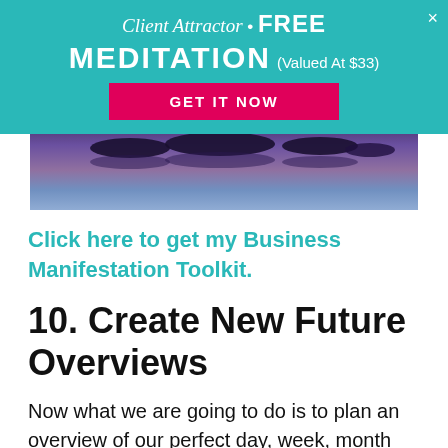[Figure (infographic): Teal promotional banner overlay with 'Client Attractor • FREE MEDITATION (Valued At $33)' text and a pink 'GET IT NOW' button, with a close X in the top right]
[Figure (photo): Aerial or wide landscape photo showing small islands on a calm body of water with purple-blue twilight sky reflected in water]
Click here to get my Business Manifestation Toolkit.
10. Create New Future Overviews
Now what we are going to do is to plan an overview of our perfect day, week, month